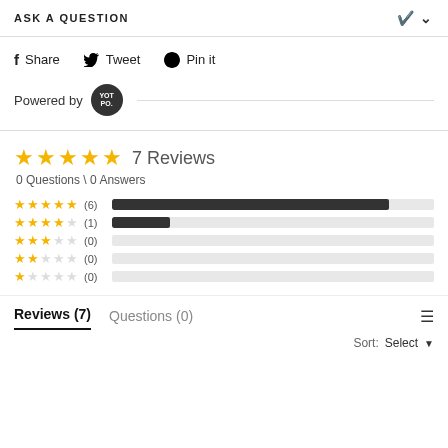ASK A QUESTION
f Share   Tweet   Pin it
Powered by YOT PO.
★★★★★ 7 Reviews
0 Questions \ 0 Answers
[Figure (bar-chart): Rating distribution]
Reviews (7)   Questions (0)
Sort: Select